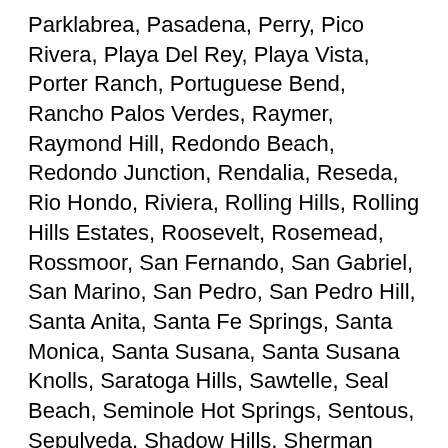Parklabrea, Pasadena, Perry, Pico Rivera, Playa Del Rey, Playa Vista, Porter Ranch, Portuguese Bend, Rancho Palos Verdes, Raymer, Raymond Hill, Redondo Beach, Redondo Junction, Rendalia, Reseda, Rio Hondo, Riviera, Rolling Hills, Rolling Hills Estates, Roosevelt, Rosemead, Rossmoor, San Fernando, San Gabriel, San Marino, San Pedro, San Pedro Hill, Santa Anita, Santa Fe Springs, Santa Monica, Santa Susana, Santa Susana Knolls, Saratoga Hills, Sawtelle, Seal Beach, Seminole Hot Springs, Sentous, Sepulveda, Shadow Hills, Sherman Oaks, Sherman Village, Sierra Madre, Signal Hill, Simi Valley, Simons, Soto Street Junction, South El Monte, South Gate, South Los Angeles, South Pasadena, South San Gabriel, South Whittier, Southwest Village, Starlight Hills, Stonehurst, Stoneman, Strathearn, Studebaker, Studio City, Sun Valley, Sunland, Sylmar, Sylvia Park, Tarzana, Taylor Junction, Temple City, Thenard, Thousand Oaks, Topanga, Topanga Beach, Torrance, Oaks, Torrance Park, T...